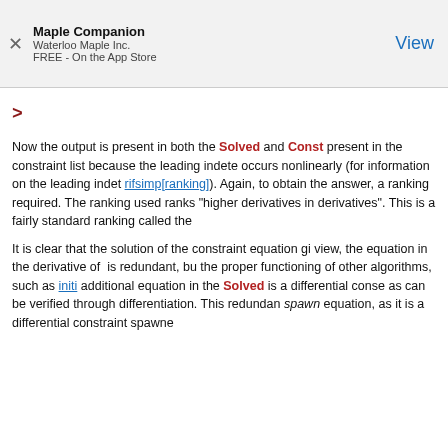Maple Companion
Waterloo Maple Inc.
FREE - On the App Store
View
>
Now the output is present in both the Solved and Const... present in the constraint list because the leading indete... occurs nonlinearly (for information on the leading indet... rifsimp[ranking]). Again, to obtain the answer, a ranking... required. The ranking used ranks "higher derivatives in... derivatives". This is a fairly standard ranking called the...
It is clear that the solution of the constraint equation gi... view, the equation in the derivative of is redundant, bu... the proper functioning of other algorithms, such as initi... additional equation in the Solved is a differential conse... as can be verified through differentiation. This redundan... spawn equation, as it is a differential constraint spawne...